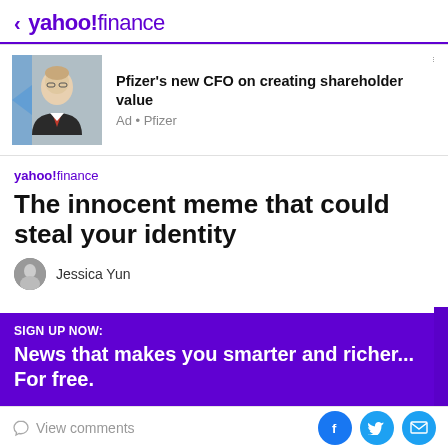< yahoo!finance
[Figure (photo): Pfizer CFO headshot photo in ad banner]
Pfizer's new CFO on creating shareholder value
Ad • Pfizer
The innocent meme that could steal your identity
Jessica Yun
SIGN UP NOW:
News that makes you smarter and richer... For free.
View comments